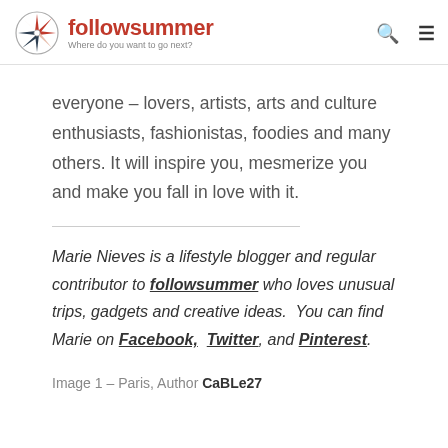followsummer – Where do you want to go next?
everyone – lovers, artists, arts and culture enthusiasts, fashionistas, foodies and many others. It will inspire you, mesmerize you and make you fall in love with it.
Marie Nieves is a lifestyle blogger and regular contributor to followsummer who loves unusual trips, gadgets and creative ideas.  You can find Marie on Facebook,  Twitter, and Pinterest.
Image 1 – Paris, Author CaBLe27